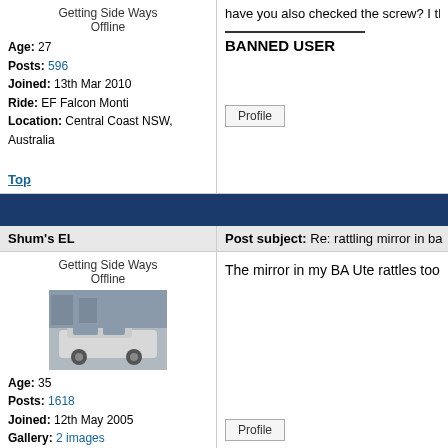Getting Side Ways
Offline
Age: 27
Posts: 596
Joined: 13th Mar 2010
Ride: EF Falcon Monti
Location: Central Coast NSW, Australia
have you also checked the screw? I think for...
BANNED USER
Profile
Top
Shum's EL
Post subject: Re: rattling mirror in ba
Getting Side Ways
Offline
[Figure (photo): White car (sedan) parked, low angle photo showing side profile]
Age: 35
Posts: 1618
Joined: 12th May 2005
Gallery: 2 images
Ride: BA 3V Tunna
Location: S.E. Melbourne VIC, Australia
The mirror in my BA Ute rattles too. Somethin
Profile
Top